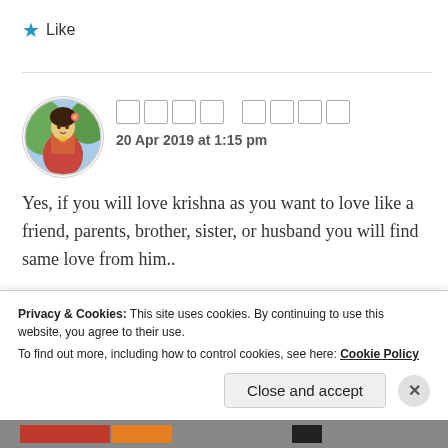★ Like
[Figure (photo): Circular avatar image of a woman in traditional Indian attire (Radha Krishna style art)]
□□□□ □□□□
20 Apr 2019 at 1:15 pm
Yes, if you will love krishna as you want to love like a friend, parents, brother, sister, or husband you will find same love from him..
Privacy & Cookies: This site uses cookies. By continuing to use this website, you agree to their use.
To find out more, including how to control cookies, see here: Cookie Policy
Close and accept